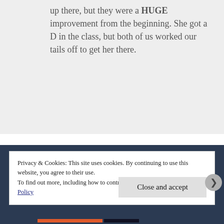up there, but they were a HUGE improvement from the beginning. She got a D in the class, but both of us worked our tails off to get her there.
Privacy & Cookies: This site uses cookies. By continuing to use this website, you agree to their use.
To find out more, including how to control cookies, see here: Cookie Policy
Close and accept